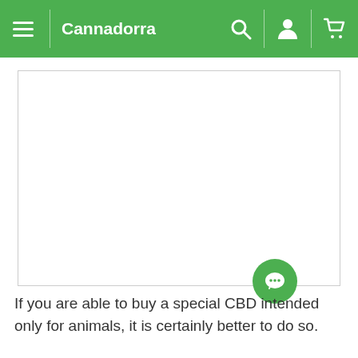Cannadorra
[Figure (photo): White empty product image placeholder box with light gray border]
[Figure (other): Green circular chat/message button icon]
If you are able to buy a special CBD intended only for animals, it is certainly better to do so.